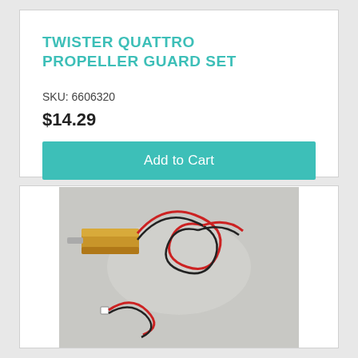TWISTER QUATTRO PROPELLER GUARD SET
SKU: 6606320
$14.29
Add to Cart
[Figure (photo): Small cylindrical motor with red and black wires coiled, and a separate connector with wires, on a light gray background]